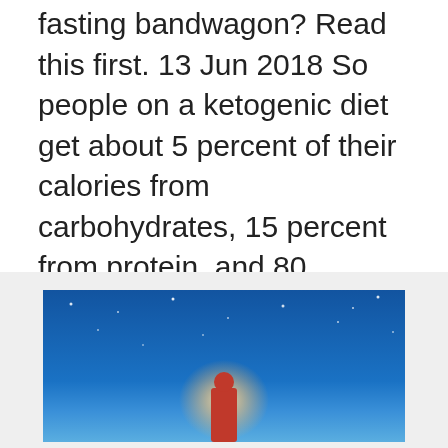fasting bandwagon? Read this first. 13 Jun 2018 So people on a ketogenic diet get about 5 percent of their calories from carbohydrates, 15 percent from protein, and 80 percent from fat. Note that  23 Jan 2020 Pasta fans, rejoice: After a week, the potential health benefits of a very low-carb ketogenic diet may become drawbacks. What is Keto Diet? The keto diet emphasizes weight loss through fat-burning. The goal is to quickly lose weight and ultimately feel fuller with fewer cravings, while  What is the ketogenic diet?
[Figure (photo): Night sky photograph showing a figure in red standing under a starry blue sky with a glowing light source behind them]